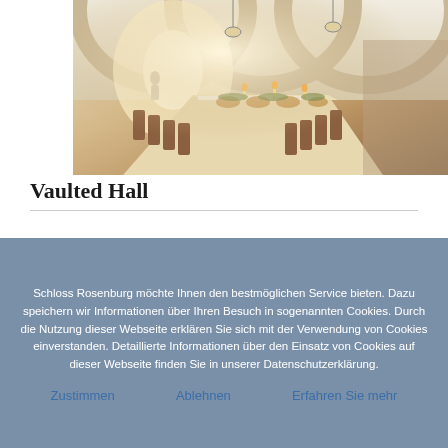[Figure (photo): A vaulted hall set up for a long banquet dinner with arched ceilings, candles, and decorated tables in what appears to be Schloss Rosenburg.]
Vaulted Hall
Schloss Rosenburg möchte Ihnen den bestmöglichen Service bieten. Dazu speichern wir Informationen über Ihren Besuch in sogenannten Cookies. Durch die Nutzung dieser Webseite erklären Sie sich mit der Verwendung von Cookies einverstanden. Detaillierte Informationen über den Einsatz von Cookies auf dieser Webseite finden Sie in unserer Datenschutzerklärung.
Zustimmen
Ablehnen
Erfahren Sie mehr